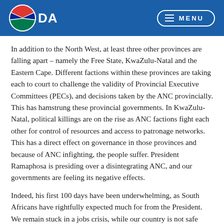DA | MENU
In addition to the North West, at least three other provinces are falling apart – namely the Free State, KwaZulu-Natal and the Eastern Cape. Different factions within these provinces are taking each to court to challenge the validity of Provincial Executive Committees (PECs), and decisions taken by the ANC provincially. This has hamstrung these provincial governments. In KwaZulu-Natal, political killings are on the rise as ANC factions fight each other for control of resources and access to patronage networks. This has a direct effect on governance in those provinces and because of ANC infighting, the people suffer. President Ramaphosa is presiding over a disintegrating ANC, and our governments are feeling its negative effects.
Indeed, his first 100 days have been underwhelming, as South Africans have rightfully expected much for from the President. We remain stuck in a jobs crisis, while our country is not safe from crime, and our politicians continue to commit acts of corruption and nepotism. All while living